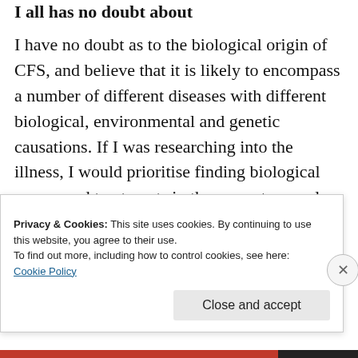I have no doubt as to the biological origin of...
I have no doubt as to the biological origin of CFS, and believe that it is likely to encompass a number of different diseases with different biological, environmental and genetic causations. If I was researching into the illness, I would prioritise finding biological causes and treatments in those most severely affected. I am well aware that I only see people in my clinic who are well enough to travel to it – we
Privacy & Cookies: This site uses cookies. By continuing to use this website, you agree to their use.
To find out more, including how to control cookies, see here:
Cookie Policy